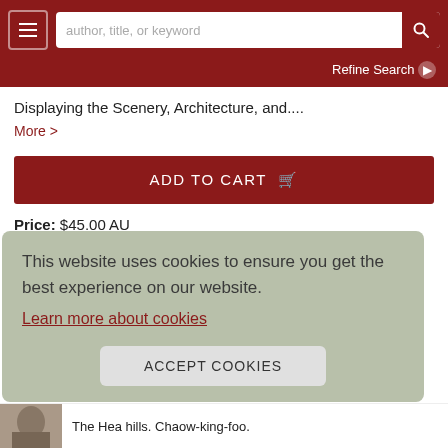author, title, or keyword | Refine Search
Displaying the Scenery, Architecture, and....
More >
ADD TO CART
Price: $45.00 AU
OTHER CURRENCIES
This website uses cookies to ensure you get the best experience on our website.
Learn more about cookies
ACCEPT COOKIES
The Hea hills. Chaow-king-foo.